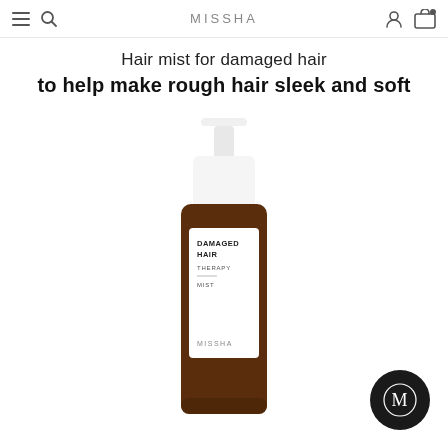MISSHA
Hair mist for damaged hair
to help make rough hair sleek and soft
[Figure (photo): MISSHA Damaged Hair Therapy Mist product bottle — brown cylindrical bottle with white pump cap and white label reading 'DAMAGED HAIR THERAPY MIST MISSHA']